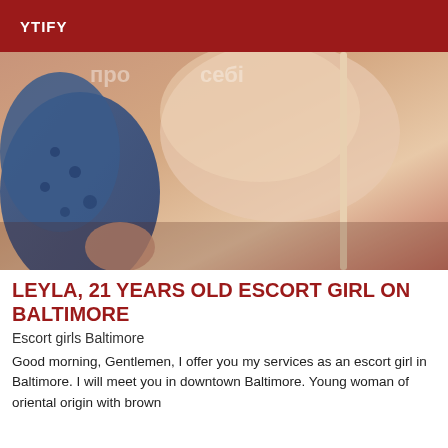YTIFY
[Figure (photo): Close-up photo of a young woman's back and shoulder, wearing a beige/nude colored strap, with another person in a blue patterned garment visible to the left.]
LEYLA, 21 YEARS OLD ESCORT GIRL ON BALTIMORE
Escort girls Baltimore
Good morning, Gentlemen, I offer you my services as an escort girl in Baltimore. I will meet you in downtown Baltimore. Young woman of oriental origin with brown